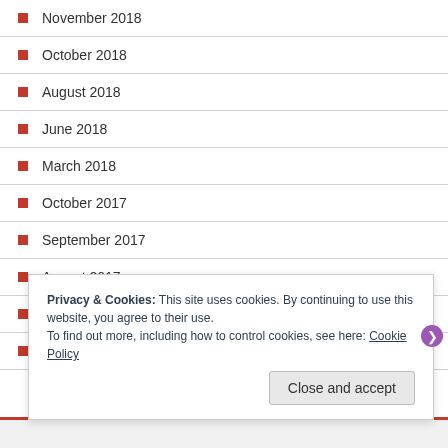November 2018
October 2018
August 2018
June 2018
March 2018
October 2017
September 2017
August 2017
July 2017
May 2017
Privacy & Cookies: This site uses cookies. By continuing to use this website, you agree to their use. To find out more, including how to control cookies, see here: Cookie Policy
Close and accept